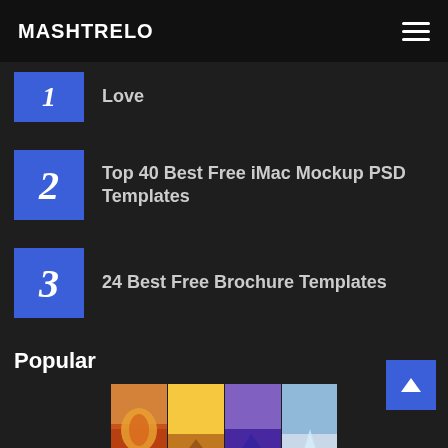MASHTRELO
Love
Top 40 Best Free iMac Mockup PSD Templates
24 Best Free Brochure Templates
Popular
[Figure (photo): Collage of four vertical photo strips showing seasonal nature scenes: autumn leaf, purple mountain sunset, and snowy winter trees]
47 HD iPhone X Wallpapers